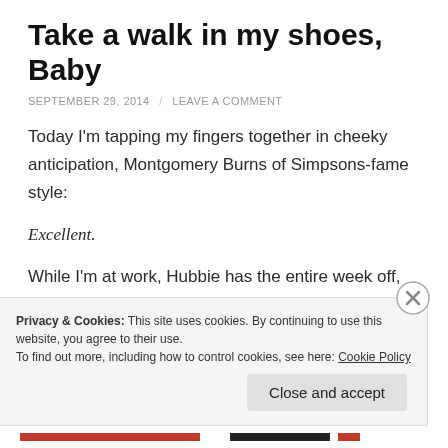Take a walk in my shoes, Baby
SEPTEMBER 29, 2014 / LEAVE A COMMENT
Today I'm tapping my fingers together in cheeky anticipation, Montgomery Burns of Simpsons-fame style:
Excellent.
While I'm at work, Hubbie has the entire week off, so he is doing the looking after baby girl duties.
Privacy & Cookies: This site uses cookies. By continuing to use this website, you agree to their use.
To find out more, including how to control cookies, see here: Cookie Policy
Close and accept